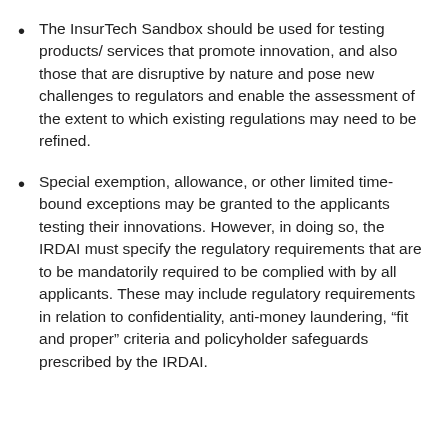The InsurTech Sandbox should be used for testing products/ services that promote innovation, and also those that are disruptive by nature and pose new challenges to regulators and enable the assessment of the extent to which existing regulations may need to be refined.
Special exemption, allowance, or other limited time-bound exceptions may be granted to the applicants testing their innovations. However, in doing so, the IRDAI must specify the regulatory requirements that are to be mandatorily required to be complied with by all applicants. These may include regulatory requirements in relation to confidentiality, anti-money laundering, “fit and proper” criteria and policyholder safeguards prescribed by the IRDAI.